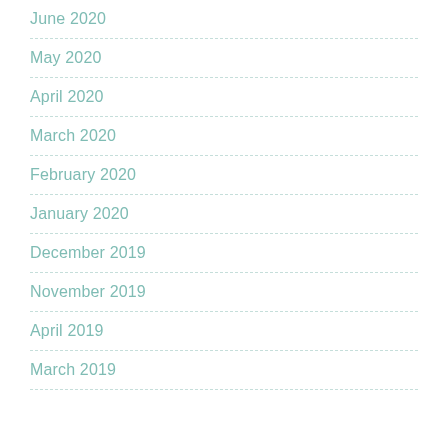June 2020
May 2020
April 2020
March 2020
February 2020
January 2020
December 2019
November 2019
April 2019
March 2019